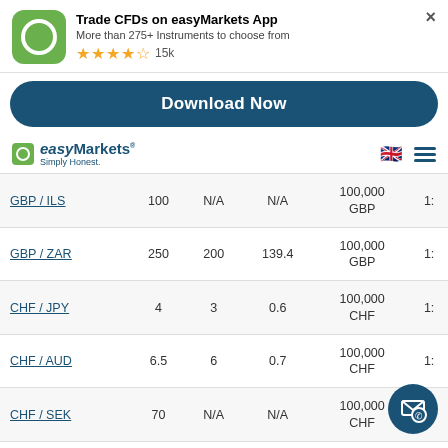[Figure (screenshot): App store banner for easyMarkets App showing green icon with white circle, title 'Trade CFDs on easyMarkets App', subtitle 'More than 275+ Instruments to choose from', 4.5 star rating with 15k reviews, and a close X button]
[Figure (screenshot): Download Now button - dark navy blue rounded rectangle button]
[Figure (logo): easyMarkets logo with green square icon and text 'easyMarkets Simply Honest.' with UK flag and hamburger menu]
| Pair | Spread | Col2 | Col3 | Lot Size | Leverage |
| --- | --- | --- | --- | --- | --- |
| GBP / ILS | 100 | N/A | N/A | 100,000 GBP | 1: |
| GBP / ZAR | 250 | 200 | 139.4 | 100,000 GBP | 1: |
| CHF / JPY | 4 | 3 | 0.6 | 100,000 CHF | 1: |
| CHF / AUD | 6.5 | 6 | 0.7 | 100,000 CHF | 1: |
| CHF / SEK | 70 | N/A | N/A | 100,000 CHF | 1: |